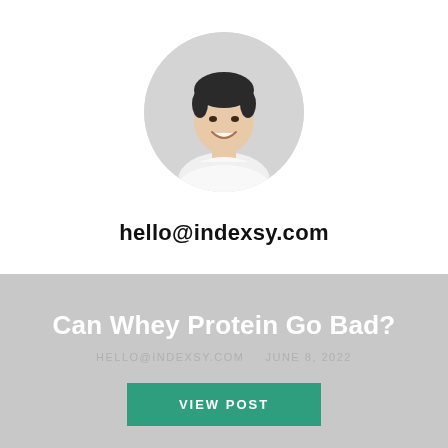[Figure (photo): Circular avatar photo of a smiling young Asian man wearing a white t-shirt, on a light gray background]
hello@indexsy.com
Can Whey Protein Go Bad?
HELLO@INDEXSY.COM   JUNE 8, 2022
VIEW POST